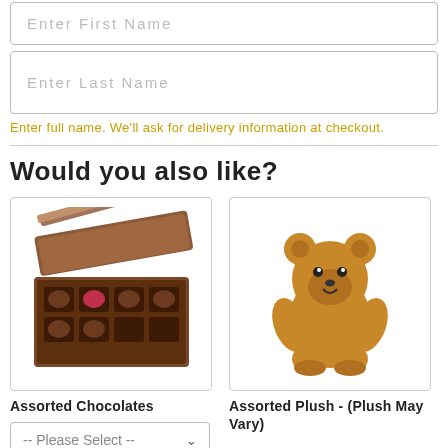Enter First Name
Enter Last Name
Enter full name. We'll ask for delivery information at checkout.
Would you also like?
[Figure (photo): Open box of assorted chocolates]
Assorted Chocolates
-- Please Select --
[Figure (photo): Brown teddy bear plush toy]
Assorted Plush - (Plush May Vary)
-- Please Select --
[Figure (photo): Colorful balloon (partially visible)]
[Figure (photo): Red heart-shaped balloon (partially visible)]